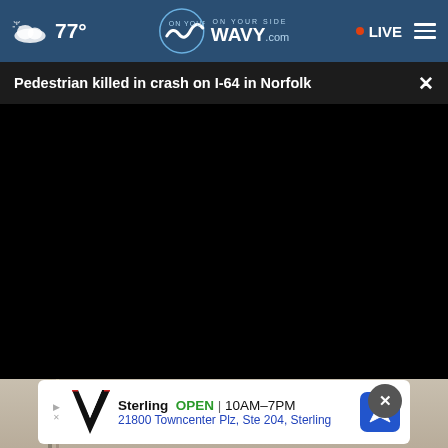77° WAVY.com ON YOUR SIDE | LIVE
Pedestrian killed in crash on I-64 in Norfolk
[Figure (screenshot): Black video player area (video not loaded)]
[Figure (photo): Partial photo visible at bottom showing objects on a wooden surface]
Sterling OPEN | 10AM-7PM 21800 Towncenter Plz, Ste 204, Sterling